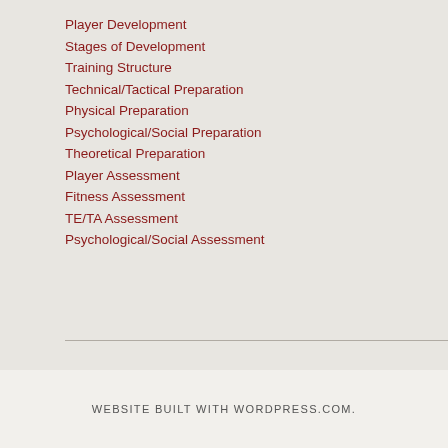Player Development
Stages of Development
Training Structure
Technical/Tactical Preparation
Physical Preparation
Psychological/Social Preparation
Theoretical Preparation
Player Assessment
Fitness Assessment
TE/TA Assessment
Psychological/Social Assessment
WEBSITE BUILT WITH WORDPRESS.COM.